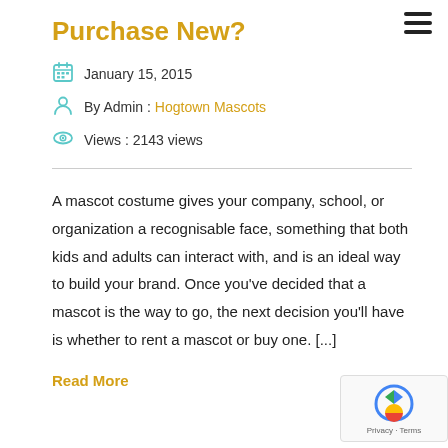Purchase New?
January 15, 2015
By Admin : Hogtown Mascots
Views : 2143 views
A mascot costume gives your company, school, or organization a recognisable face, something that both kids and adults can interact with, and is an ideal way to build your brand. Once you've decided that a mascot is the way to go, the next decision you'll have is whether to rent a mascot or buy one. [...]
Read More